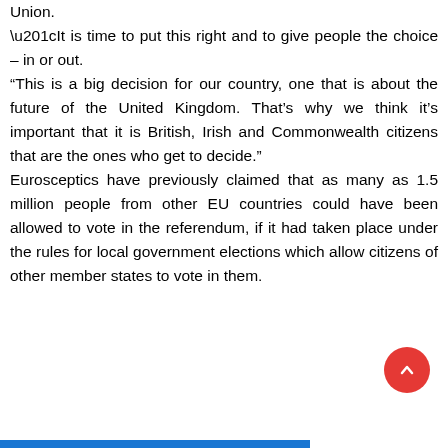Union. “It is time to put this right and to give people the choice – in or out. “This is a big decision for our country, one that is about the future of the United Kingdom. That’s why we think it’s important that it is British, Irish and Commonwealth citizens that are the ones who get to decide.” Eurosceptics have previously claimed that as many as 1.5 million people from other EU countries could have been allowed to vote in the referendum, if it had taken place under the rules for local government elections which allow citizens of other member states to vote in them.